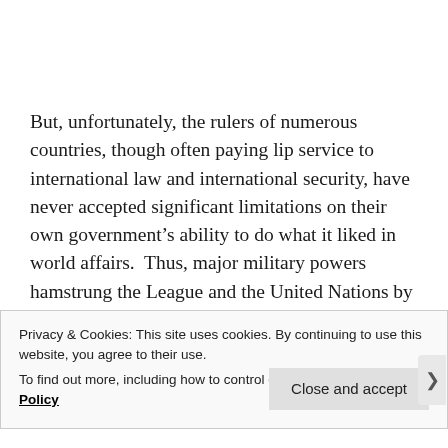But, unfortunately, the rulers of numerous countries, though often paying lip service to international law and international security, have never accepted significant limitations on their own government's ability to do what it liked in world affairs.  Thus, major military powers hamstrung the League and the United Nations by refusing to join these world organizations, withdrawing from them,
Privacy & Cookies: This site uses cookies. By continuing to use this website, you agree to their use.
To find out more, including how to control cookies, see here: Cookie Policy
Close and accept